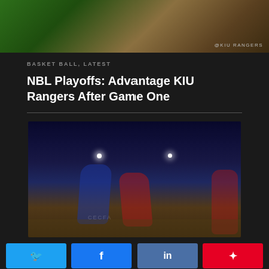[Figure (photo): Basketball players in green and yellow uniforms on court, @KIU RANGERS watermark]
BASKET BALL, LATEST
NBL Playoffs: Advantage KIU Rangers After Game One
[Figure (photo): Soccer/football players in blue and red uniforms competing on a night pitch with stadium lights and crowd in background]
Share buttons: Twitter, Facebook, LinkedIn, Pinterest